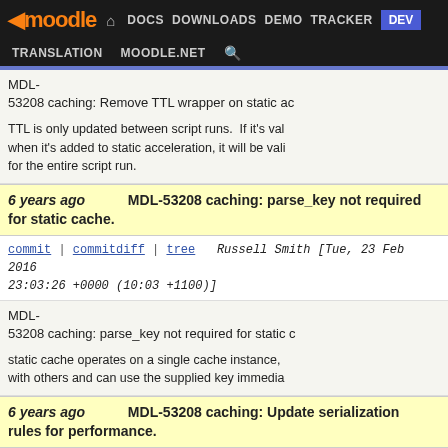moodle | DOCS | DOWNLOADS | DEMO | TRACKER | DEV | TRANSLATION | MOODLE.NET
MDL-53208 caching: Remove TTL wrapper on static ac
TTL is only updated between script runs. If it's val when it's added to static acceleration, it will be vali for the entire script run.
6 years ago   MDL-53208 caching: parse_key not required for static cache.
commit | commitdiff | tree   Russell Smith [Tue, 23 Feb 2016 23:03:26 +0000 (10:03 +1100)]
MDL-53208 caching: parse_key not required for static c
static cache operates on a single cache instance, with others and can use the supplied key immedia
6 years ago   MDL-53208 caching: Update serialization rules for performance.
commit | commitdiff | tree   Russell Smith [Tue, 23 Feb 2016 23:33:59 +0000 (11:33 +1100)]